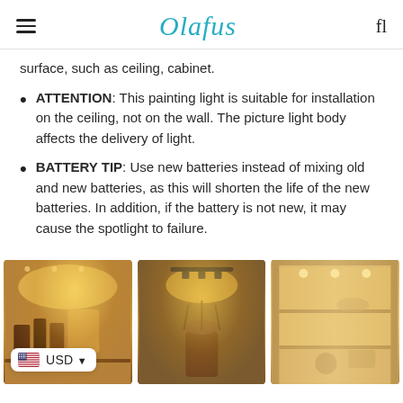Olafus
surface, such as ceiling, cabinet.
ATTENTION: This painting light is suitable for installation on the ceiling, not on the wall. The picture light body affects the delivery of light.
BATTERY TIP: Use new batteries instead of mixing old and new batteries, as this will shorten the life of the new batteries. In addition, if the battery is not new, it may cause the spotlight to failure.
[Figure (photo): Three product photos showing warm-lit spotlights: (1) bar shelving scene with bottles and warm amber light, (2) painting light illuminating artwork/vase on a dark background, (3) illuminated cabinet/shelf with spotlights. Currency selector badge showing USD with US flag overlaid on image 1.]